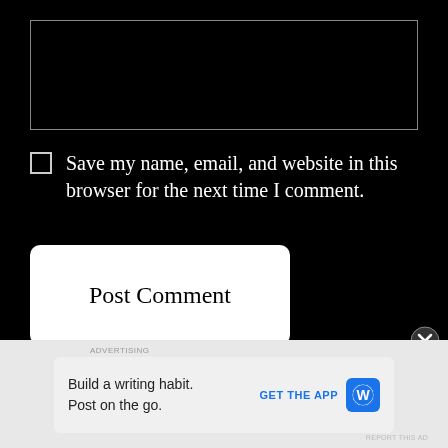[Figure (other): Text input textarea with border on black background]
Save my name, email, and website in this browser for the next time I comment.
Post Comment
Notify me of new comments via email.
Notify me of new posts via email.
Build a writing habit. Post on the go.
GET THE APP